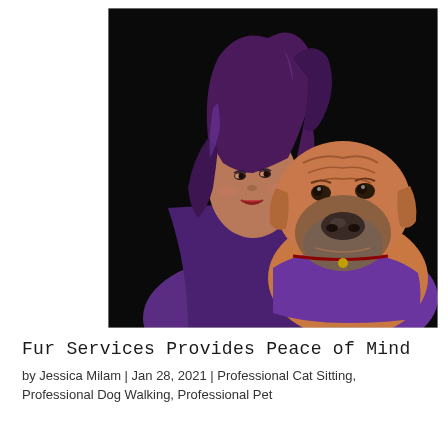[Figure (photo): A woman with purple/dark curly hair wearing a purple top hugs a large tan/brown wrinkly-faced dog (Shar Pei type) against a dark black background. Both face the camera. Professional portrait-style photo.]
Fur Services Provides Peace of Mind
by Jessica Milam | Jan 28, 2021 | Professional Cat Sitting, Professional Dog Walking, Professional Pet